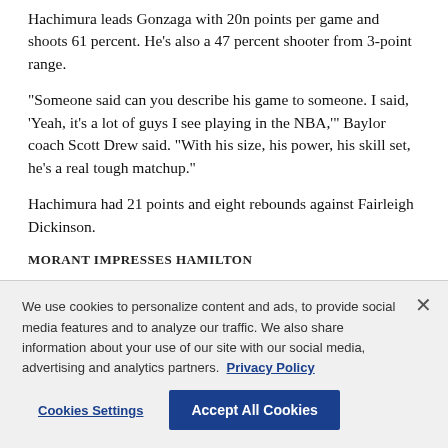Hachimura leads Gonzaga with 20n points per game and shoots 61 percent. He’s also a 47 percent shooter from 3-point range.
“Someone said can you describe his game to someone. I said, ‘Yeah, it’s a lot of guys I see playing in the NBA,’” Baylor coach Scott Drew said. “With his size, his power, his skill set, he’s a real tough matchup.”
Hachimura had 21 points and eight rebounds against Fairleigh Dickinson.
MORANT IMPRESSES HAMILTON
We use cookies to personalize content and ads, to provide social media features and to analyze our traffic. We also share information about your use of our site with our social media, advertising and analytics partners. Privacy Policy